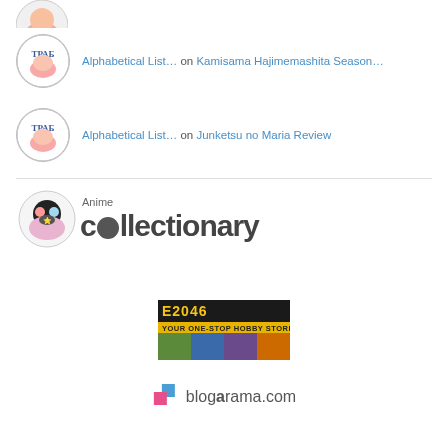[Figure (illustration): Avatar icon (TPAB logo circle with pink/skin color) at top, partially cropped]
Alphabetical List… on Kamisama Hajimemashita Season…
Alphabetical List… on Junketsu no Maria Review
[Figure (logo): Anime Collectionary logo with anime character circle icon and stylized text 'Anime cOllectionary']
[Figure (logo): E2046 Your One-Stop Hobby Store banner with yellow/black text and character images]
[Figure (logo): Blogarama.com logo with pink/blue square icon and text 'blogarama.com']